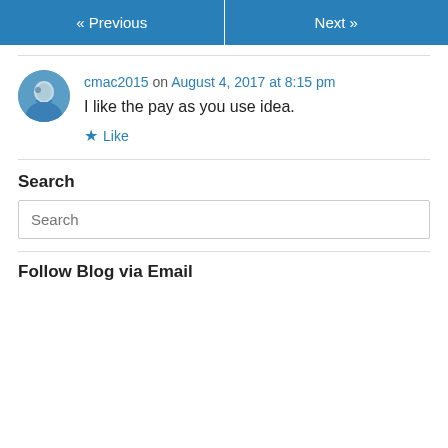« Previous   Next »
cmac2015 on August 4, 2017 at 8:15 pm
I like the pay as you use idea.
★ Like
Search
Search
Follow Blog via Email